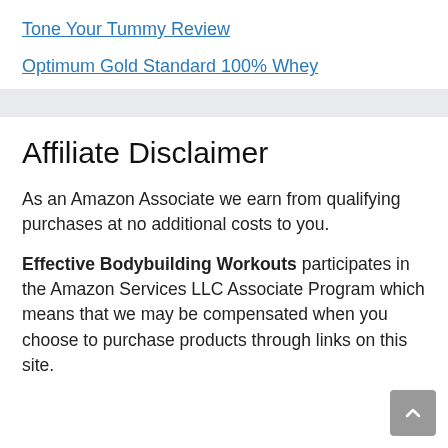Tone Your Tummy Review
Optimum Gold Standard 100% Whey
Affiliate Disclaimer
As an Amazon Associate we earn from qualifying purchases at no additional costs to you.
Effective Bodybuilding Workouts participates in the Amazon Services LLC Associate Program which means that we may be compensated when you choose to purchase products through links on this site.